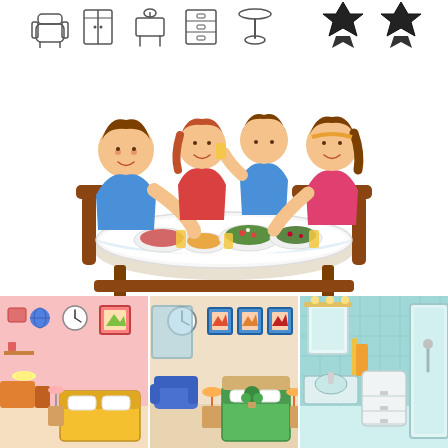[Figure (illustration): Row of small furniture icons: armchair, wardrobe, vanity/desk, chest of drawers, pedestal table]
[Figure (illustration): Two dark decorative badge/ribbon icons in upper right corner]
[Figure (illustration): Cartoon illustration of a family of four (man in blue, girl in red, boy in blue, woman in pink) sitting around a dining table with food and drinks]
[Figure (illustration): Three cartoon room illustrations side by side: pink bedroom, beige bedroom, teal bathroom]